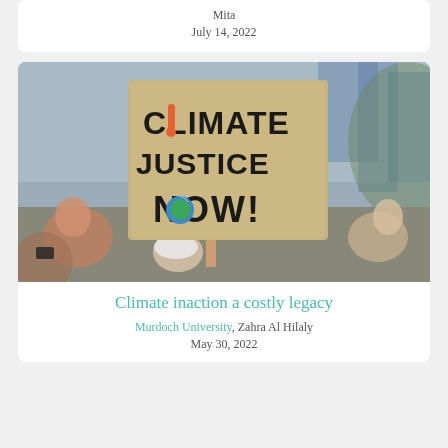Mita
July 14, 2022
[Figure (photo): Protest photo showing a person holding a cardboard sign reading 'Climate Justice NOW!' with a thermometer and earth graphic, crowd in background]
Climate inaction a costly legacy
Murdoch University, Zahra Al Hilaly
May 30, 2022